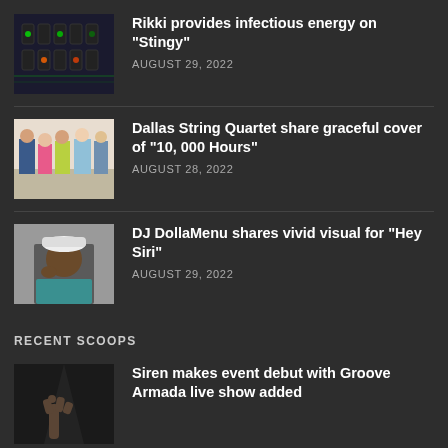[Figure (photo): DJ mixer with glowing green and orange buttons]
Rikki provides infectious energy on "Stingy"
AUGUST 29, 2022
[Figure (photo): Four people posing outdoors, group photo]
Dallas String Quartet share graceful cover of "10, 000 Hours"
AUGUST 28, 2022
[Figure (photo): Man wearing a white cap, close-up portrait]
DJ DollaMenu shares vivid visual for "Hey Siri"
AUGUST 29, 2022
RECENT SCOOPS
[Figure (photo): Dark concert scene, hand reaching up]
Siren makes event debut with Groove Armada live show added